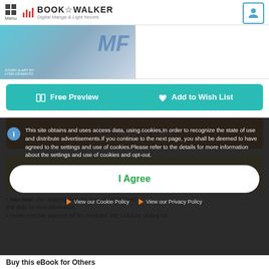Menu | BOOK WALKER Digital Manga & Light Novels
[Figure (screenshot): Book cover image partially visible, with blue/teal design and text 'STORY & ART BY LYNN OKAMOTO']
Free Preview   Add to Wish List
Add to Cart
Instant Checkout with PayPal
• Your total: [amount] after applying [discount] (excl. taxes and fees)
See [link] for more information
• Please note that payment will be completed with 1-click by clicking the
[Figure (infographic): Cookie consent overlay banner with info icon, cookie policy message, I Agree button, and links to Cookie Policy and Privacy Policy]
This site obtains and uses access data, using cookies,In order to recognize the state of use and distribute advertisements.If you continue to the next page, you shall be deemed to have agreed to the settings and use of cookies.Please refer to the details for more information about the settings and use of cookies and opt-out.
I Agree
View our Cookie Policy   View our Privacy Policy
Buy this eBook for Others